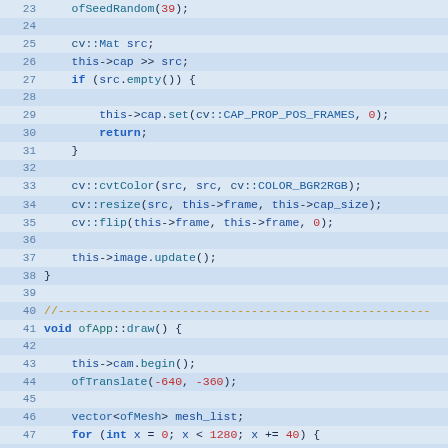[Figure (screenshot): Code editor screenshot showing C++ source code lines 23-52 with syntax highlighting on a light blue background. Code includes ofSeedRandom, cv::Mat, cap, cvtColor, resize, flip, image.update, ofApp::draw, cam.begin, ofTranslate, vector<ofMesh>, for loops, and ofNoise calls.]